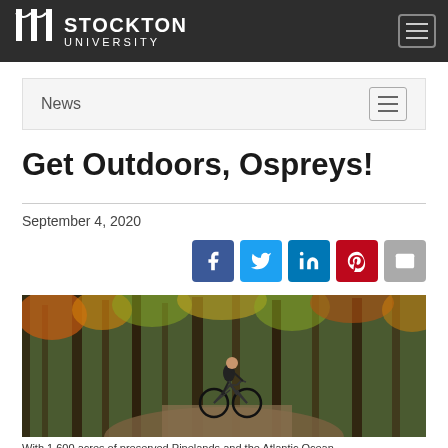Stockton University
News
Get Outdoors, Ospreys!
September 4, 2020
[Figure (photo): Person riding a mountain bike on a wooded trail in autumn]
With 1,600 acres of preserved Pinelands and the Atlantic Ocean...